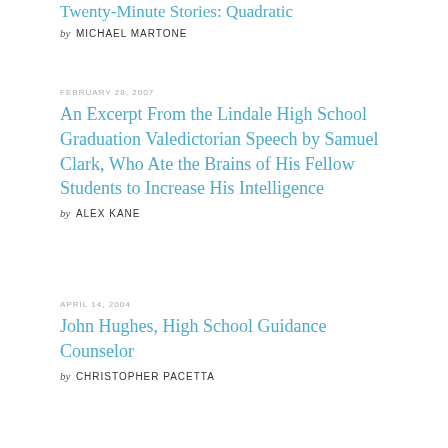Twenty-Minute Stories: Quadratic
by MICHAEL MARTONE
FEBRUARY 28, 2007
An Excerpt From the Lindale High School Graduation Valedictorian Speech by Samuel Clark, Who Ate the Brains of His Fellow Students to Increase His Intelligence
by ALEX KANE
APRIL 14, 2004
John Hughes, High School Guidance Counselor
by CHRISTOPHER PACETTA